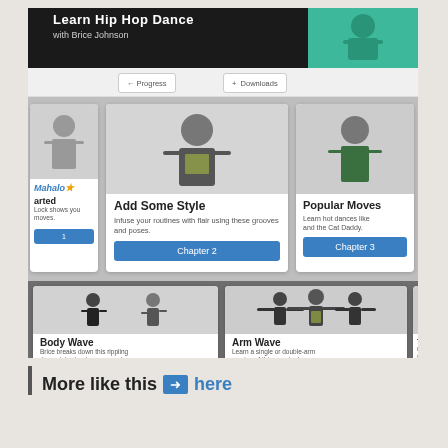[Figure (screenshot): Screenshot of a Mahalo 'Learn Hip Hop Dance with Brice Johnson' course page showing chapter cards (Add Some Style, Popular Moves) and lesson cards (Body Wave, Arm Wave) with progress and download navigation buttons.]
More like this → here